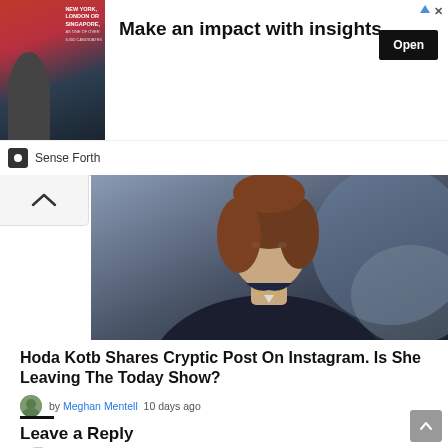[Figure (photo): Advertisement banner with image of a man in suit, text NEW YORK, LONDON OR SINGAPORE, headline Make an impact with insights., Open button, and Sense Forth logo]
[Figure (photo): Photo of a woman with brown hair wearing a dark blue outfit with a necklace, shown from shoulders up]
Hoda Kotb Shares Cryptic Post On Instagram. Is She Leaving The Today Show?
by Meghan Mentell  10 days ago
Leave a Reply
[Figure (illustration): Generic user avatar silhouette icon in gray circle]
Your email address will not be published. Required fields are marked *